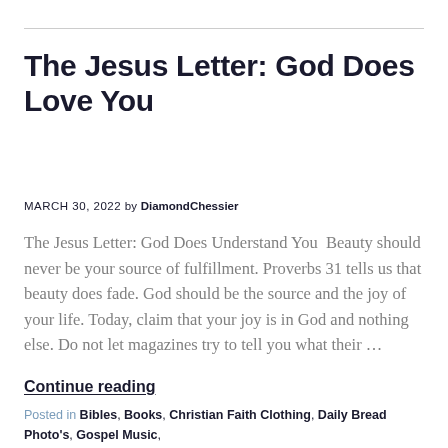The Jesus Letter: God Does Love You
MARCH 30, 2022 by DiamondChessier
The Jesus Letter: God Does Understand You  Beauty should never be your source of fulfillment. Proverbs 31 tells us that beauty does fade. God should be the source and the joy of your life. Today, claim that your joy is in God and nothing else. Do not let magazines try to tell you what their …
Continue reading
Posted in Bibles, Books, Christian Faith Clothing, Daily Bread Photo's, Gospel Music, Music, Prayer For Financial Breakthrough, Prayer For Nations and Government Powers, Prayer For Spiritual Warfare, Prayer For The Beauty of Holiness, Prayer